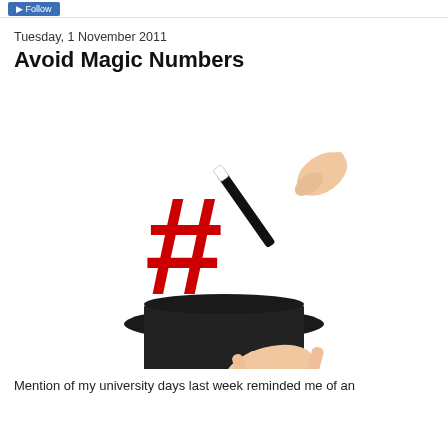Tuesday, 1 November 2011
Avoid Magic Numbers
[Figure (illustration): Illustration of a magician's hand holding a magic wand over a black top hat, with a large red hash/pound symbol (#) emerging from the hat, held by another hand from below.]
Mention of my university days last week reminded me of an